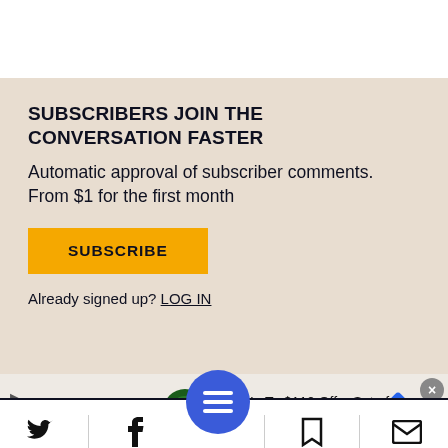SUBSCRIBERS JOIN THE CONVERSATION FASTER
Automatic approval of subscriber comments.
From $1 for the first month
SUBSCRIBE
Already signed up? LOG IN
[Figure (screenshot): Mobile bottom navigation bar with Twitter, Facebook, menu (blue circle), bookmark, and email icons]
Get Up To $110 Off a Set of 4 Select Firestone Tires